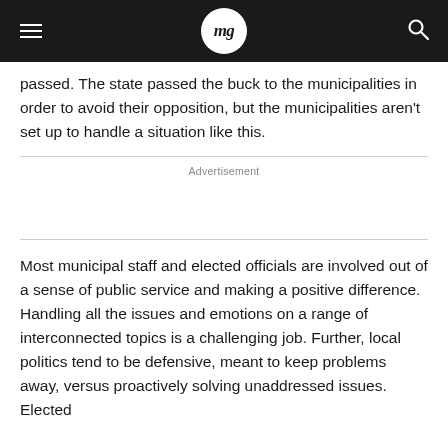mg
passed. The state passed the buck to the municipalities in order to avoid their opposition, but the municipalities aren't set up to handle a situation like this.
Advertisement
Most municipal staff and elected officials are involved out of a sense of public service and making a positive difference. Handling all the issues and emotions on a range of interconnected topics is a challenging job. Further, local politics tend to be defensive, meant to keep problems away, versus proactively solving unaddressed issues. Elected